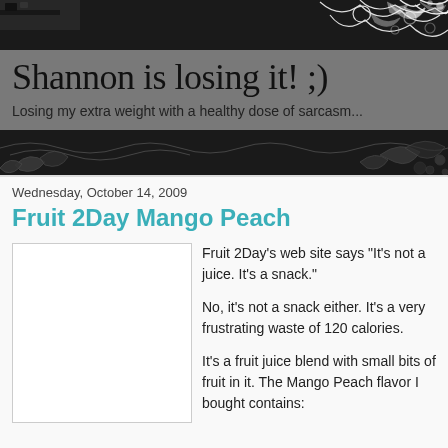[Figure (illustration): Blog header banner with black background, decorative white floral/swirl patterns and grunge texture. Grey semi-transparent overlay contains the blog title and subtitle.]
Shannon is losing it! ;)
Losing my extra weight with a healthy dose of sarcasm...
Wednesday, October 14, 2009
Fruit 2Day Mango Peach
[Figure (photo): Product photo placeholder (white box with border) for Fruit 2Day Mango Peach drink]
Fruit 2Day's web site says "It's not a juice. It's a snack."

No, it's not a snack either. It's a very frustrating waste of 120 calories.

It's a fruit juice blend with small bits of fruit in it. The Mango Peach flavor I bought contains: